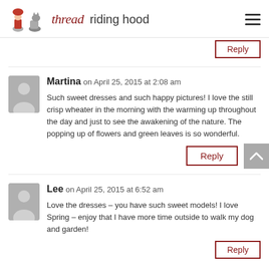thread riding hood
Reply
Martina on April 25, 2015 at 2:08 am
Such sweet dresses and such happy pictures! I love the still crisp wheater in the morning with the warming up throughout the day and just to see the awakening of the nature. The popping up of flowers and green leaves is so wonderful.
Reply
Lee on April 25, 2015 at 6:52 am
Love the dresses – you have such sweet models! I love Spring – enjoy that I have more time outside to walk my dog and garden!
Reply